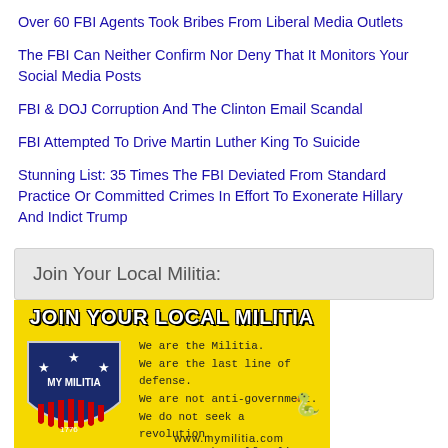Over 60 FBI Agents Took Bribes From Liberal Media Outlets
The FBI Can Neither Confirm Nor Deny That It Monitors Your Social Media Posts
FBI & DOJ Corruption And The Clinton Email Scandal
FBI Attempted To Drive Martin Luther King To Suicide
Stunning List: 35 Times The FBI Deviated From Standard Practice Or Committed Crimes In Effort To Exonerate Hillary And Indict Trump
Join Your Local Militia:
[Figure (infographic): Yellow militia recruitment poster with navy shield logo reading MY MILITIA with stars and stripes, bold white text JOIN YOUR LOCAL MILITIA at top, and text: We are the Militia. We are the last line of defense. We are not anti-government. We do not seek a revolution. We want to be self-reliant. We want to be prepared. We want you to join us. A coiled snake graphic is also visible. URL www.mymilitia.com at bottom.]